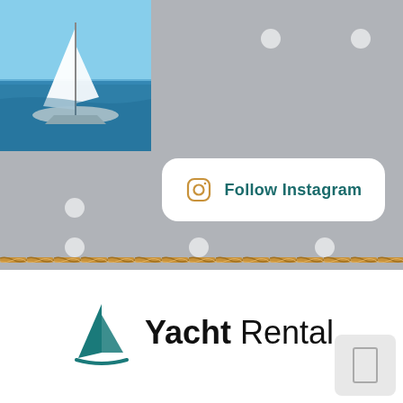[Figure (screenshot): Top gray puzzle-piece background with a sailing yacht photo in top-left corner and a 'Follow Instagram' button overlay. A rope graphic runs horizontally across the bottom of the gray area.]
[Figure (logo): Yacht Rental logo with a teal sailboat icon and the text 'Yacht Rental' in bold/regular black font.]